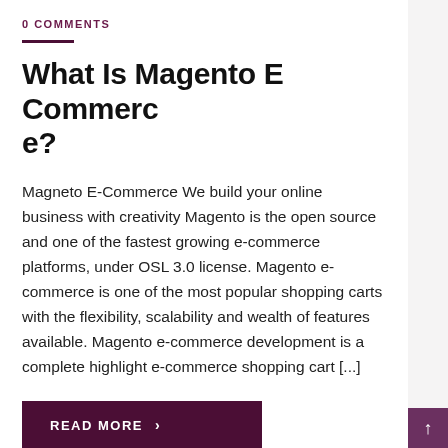0 COMMENTS
What Is Magento E Commerce?
Magneto E-Commerce We build your online business with creativity Magento is the open source and one of the fastest growing e-commerce platforms, under OSL 3.0 license. Magento e-commerce is one of the most popular shopping carts with the flexibility, scalability and wealth of features available. Magento e-commerce development is a complete highlight e-commerce shopping cart [...]
READ MORE  >